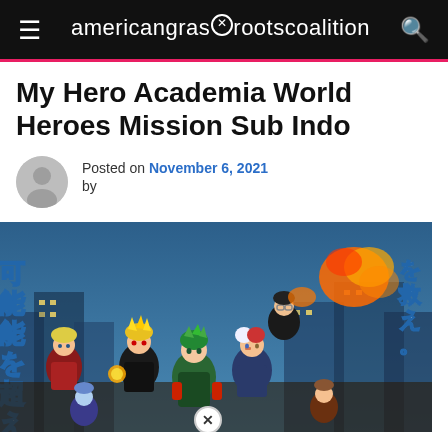americangrassrootscoalition
My Hero Academia World Heroes Mission Sub Indo
Posted on November 6, 2021 by
[Figure (illustration): My Hero Academia World Heroes Mission anime movie promotional art featuring multiple heroes including Deku, Bakugo, Todoroki, and others in action poses with Japanese text overlay]